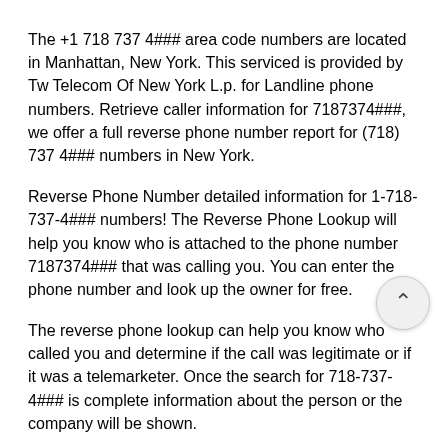The +1 718 737 4### area code numbers are located in Manhattan, New York. This serviced is provided by Tw Telecom Of New York L.p. for Landline phone numbers. Retrieve caller information for 7187374###, we offer a full reverse phone number report for (718) 737 4### numbers in New York.
Reverse Phone Number detailed information for 1-718-737-4### numbers! The Reverse Phone Lookup will help you know who is attached to the phone number 7187374### that was calling you. You can enter the phone number and look up the owner for free.
The reverse phone lookup can help you know who called you and determine if the call was legitimate or if it was a telemarketer. Once the search for 718-737-4### is complete information about the person or the company will be shown.
The good news is, you can easily find out who the number 718-737-4### belongs to and much more.
Should you get a call from phone number 718-737-4### / 7187374###. All you have to do is search the number on this page. As a result, you will get to find out more details about the phone